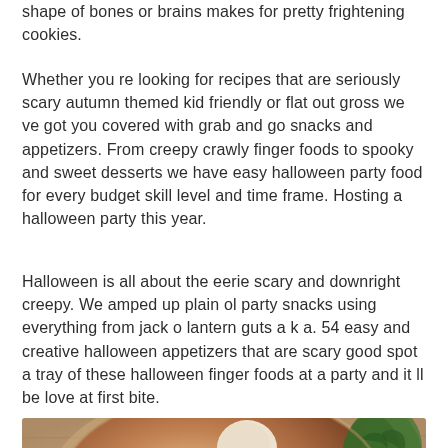shape of bones or brains makes for pretty frightening cookies.
Whether you re looking for recipes that are seriously scary autumn themed kid friendly or flat out gross we ve got you covered with grab and go snacks and appetizers. From creepy crawly finger foods to spooky and sweet desserts we have easy halloween party food for every budget skill level and time frame. Hosting a halloween party this year.
Halloween is all about the eerie scary and downright creepy. We amped up plain ol party snacks using everything from jack o lantern guts a k a. 54 easy and creative halloween appetizers that are scary good spot a tray of these halloween finger foods at a party and it ll be love at first bite.
[Figure (photo): Close-up photo of a bowl of food that appears to be a creamy dip or salad with green herbs (parsley) visible, served in a round dish on a wooden surface with fresh parsley garnish on the side.]